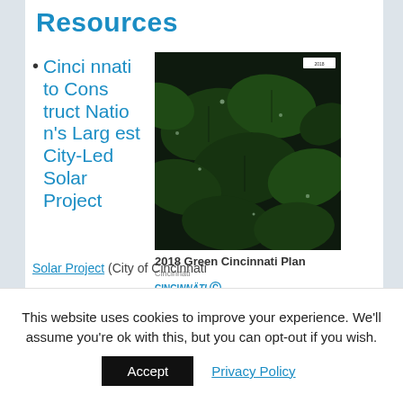Resources
Cincinnati to Construct Nation's Largest City-Led Solar Project
[Figure (photo): 2018 Green Cincinnati Plan book cover with dark green leaves background]
2018 Green Cincinnati Plan
Solar Project (City of Cincinnati
This website uses cookies to improve your experience. We'll assume you're ok with this, but you can opt-out if you wish.
Accept   Privacy Policy